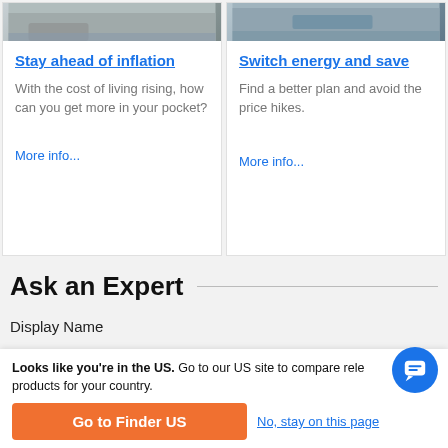[Figure (photo): Top portion of two article cards with photos — left shows a house/person image, right shows hands typing on a laptop]
Stay ahead of inflation
With the cost of living rising, how can you get more in your pocket?
More info...
Switch energy and save
Find a better plan and avoid the price hikes.
More info...
Ask an Expert
Display Name
Looks like you're in the US. Go to our US site to compare relevant products for your country.
Go to Finder US
No, stay on this page